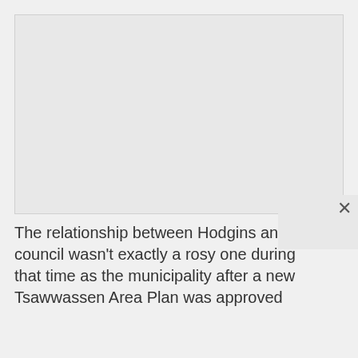[Figure (photo): Large image placeholder occupying the top portion of the page, light gray background]
The relationship between Hodgins and council wasn't exactly a rosy one during that time as the municipality after a new Tsawwassen Area Plan was approved